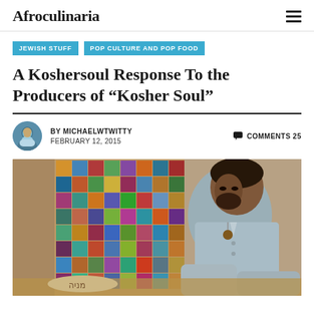Afroculinaria
JEWISH STUFF
POP CULTURE AND POP FOOD
A Koshersoul Response To the Producers of “Kosher Soul”
BY MICHAELWTWITTY  FEBRUARY 12, 2015  COMMENTS 25
[Figure (photo): A man in a light blue denim shirt with a pendant necklace, looking down and working at a table. Behind him is a colorful patchwork quilt. The scene appears to be an indoor workspace.]